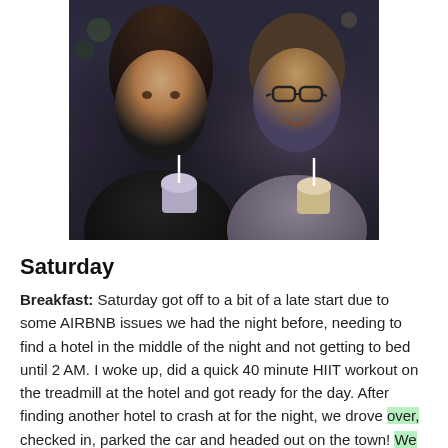[Figure (photo): A couple smiling and holding ice cream cups/cones outdoors at night. The woman is on the left with long brown hair wearing black, the man is on the right wearing glasses and a grey zip-up hoodie.]
Saturday
Breakfast:  Saturday got off to a bit of a late start due to some AIRBNB issues we had the night before, needing to find a hotel in the middle of the night and not getting to bed until 2 AM. I woke up, did a quick 40 minute HIIT workout on the treadmill at the hotel and got ready for the day. After finding another hotel to crash at for the night, we drove over, checked in, parked the car and headed out on the town! We wanted to do the Freedom Trail (2.5 mile walk around